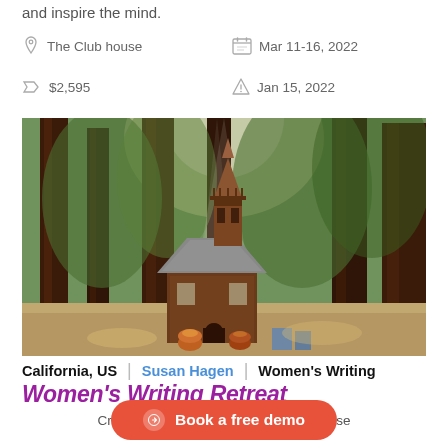and inspire the mind.
The Club house    Mar 11-16, 2022
$2,595    Jan 15, 2022
[Figure (photo): A rustic wooden chapel or small church building with a pointed steeple, surrounded by tall California redwood trees with sunlight filtering through. Colorful flower pots at the entrance.]
California, US | Susan Hagen | Women's Writing
Women's Writing Retreat
Create, publish, and sell ebooks with ease
Book a free demo